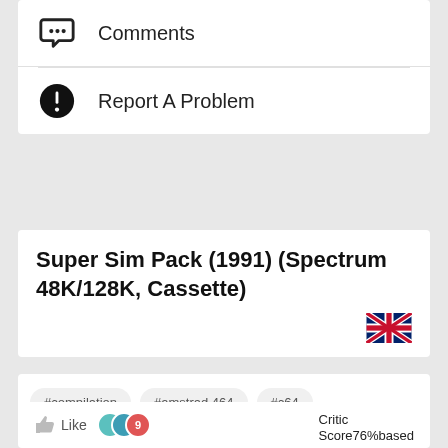Comments
Report A Problem
Super Sim Pack (1991) (Spectrum 48K/128K, Cassette)
#compilation
#amstrad 464
#c64
#spectrum 48k
#c128
#spectrum 128k
#spectrum +2
#spectrum +3
#amiga 500
#amstrad 664
Critic Score76%based